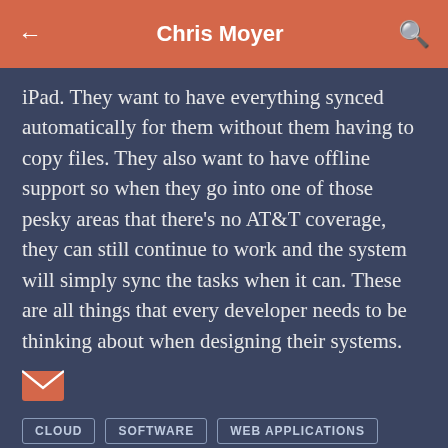Chris Moyer
iPad. They want to have everything synced automatically for them without them having to copy files. They also want to have offline support so when they go into one of those pesky areas that there's no AT&T coverage, they can still continue to work and the system will simply sync the tasks when it can. These are all things that every developer needs to be thinking about when designing their systems.
CLOUD
SOFTWARE
WEB APPLICATIONS